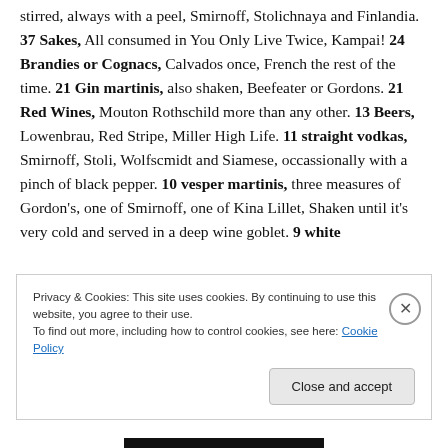stirred, always with a peel, Smirnoff, Stolichnaya and Finlandia. 37 Sakes, All consumed in You Only Live Twice, Kampai! 24 Brandies or Cognacs, Calvados once, French the rest of the time. 21 Gin martinis, also shaken, Beefeater or Gordons. 21 Red Wines, Mouton Rothschild more than any other. 13 Beers, Lowenbrau, Red Stripe, Miller High Life. 11 straight vodkas, Smirnoff, Stoli, Wolfscmidt and Siamese, occassionally with a pinch of black pepper. 10 vesper martinis, three measures of Gordon's, one of Smirnoff, one of Kina Lillet, Shaken until it's very cold and served in a deep wine goblet. 9 white
Privacy & Cookies: This site uses cookies. By continuing to use this website, you agree to their use. To find out more, including how to control cookies, see here: Cookie Policy